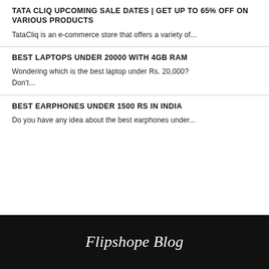TATA CLIQ UPCOMING SALE DATES | GET UP TO 65% OFF ON VARIOUS PRODUCTS
TataCliq is an e-commerce store that offers a variety of...
BEST LAPTOPS UNDER 20000 WITH 4GB RAM
Wondering which is the best laptop under Rs. 20,000? Don't...
BEST EARPHONES UNDER 1500 RS IN INDIA
Do you have any idea about the best earphones under...
Flipshope Blog